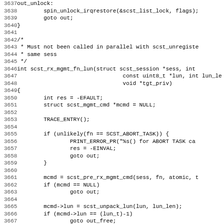Source code listing, lines 3637–3668+, showing C code for scst_rx_mgmt_fn_lun function